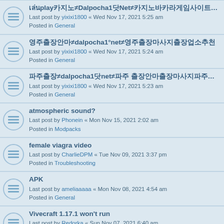play≠Dalpocha1 Net≠
Last post by yixixi1800 « Wed Nov 17, 2021 5:25 am
Posted in General
≠dalpocha1°net≠
Last post by yixixi1800 « Wed Nov 17, 2021 5:24 am
Posted in General
≠dalpocha1 net≠
Last post by yixixi1800 « Wed Nov 17, 2021 5:23 am
Posted in General
atmospheric sound?
Last post by Phonein « Mon Nov 15, 2021 2:02 am
Posted in Modpacks
female viagra video
Last post by CharlieDPM « Tue Nov 09, 2021 3:37 pm
Posted in Troubleshooting
APK
Last post by ameliaaaaa « Mon Nov 08, 2021 4:54 am
Posted in General
Vivecraft 1.17.1 won't run
Last post by Redorka « Sun Nov 07, 2021 6:40 am
Posted in Troubleshooting
Endpoint Detection and Response market share by 2028
Last post by peter100 « Fri Nov 05, 2021 8:12 am
Posted in General
I need to test my app
Last post by Nearlyitec « Thu Nov 04, 2021 3:24 pm